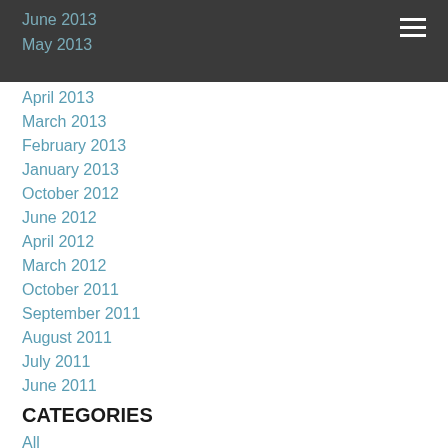June 2013
May 2013
April 2013
March 2013
February 2013
January 2013
October 2012
June 2012
April 2012
March 2012
October 2011
September 2011
August 2011
July 2011
June 2011
CATEGORIES
All
AHEPA